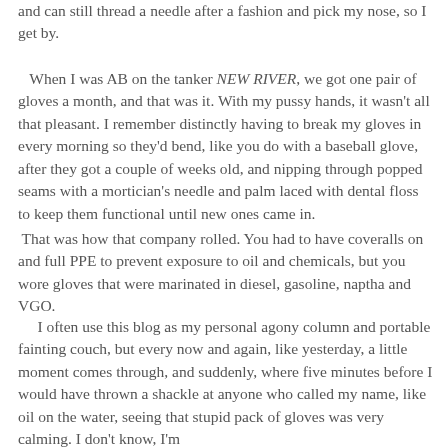and can still thread a needle after a fashion and pick my nose, so I get by.
When I was AB on the tanker NEW RIVER, we got one pair of gloves a month, and that was it. With my pussy hands, it wasn't all that pleasant. I remember distinctly having to break my gloves in every morning so they'd bend, like you do with a baseball glove, after they got a couple of weeks old, and nipping through popped seams with a mortician's needle and palm laced with dental floss to keep them functional until new ones came in.
That was how that company rolled. You had to have coveralls on and full PPE to prevent exposure to oil and chemicals, but you wore gloves that were marinated in diesel, gasoline, naptha and VGO.
I often use this blog as my personal agony column and portable fainting couch, but every now and again, like yesterday, a little moment comes through, and suddenly, where five minutes before I would have thrown a shackle at anyone who called my name, like oil on the water, seeing that stupid pack of gloves was very calming. I don't know, I'm